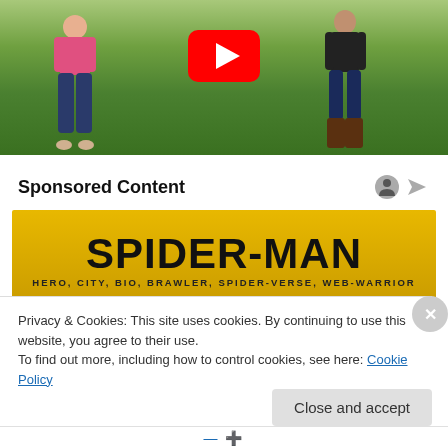[Figure (screenshot): YouTube video thumbnail showing two people standing in a grassy park area with a YouTube play button overlay]
Sponsored Content
[Figure (illustration): Spider-Man advertisement banner with yellow/gold background showing 'SPIDER-MAN' in large bold black text and subtitle 'HERO, CITY, BIO, BRAWLER, SPIDER-VERSE, WEB-WARRIOR']
Privacy & Cookies: This site uses cookies. By continuing to use this website, you agree to their use.
To find out more, including how to control cookies, see here: Cookie Policy
Close and accept